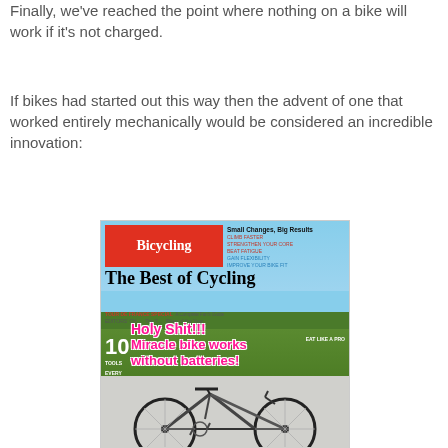Finally, we've reached the point where nothing on a bike will work if it's not charged.
If bikes had started out this way then the advent of one that worked entirely mechanically would be considered an incredible innovation:
[Figure (photo): A humorous image showing a Bicycling magazine cover with the headline 'The Best of Cycling' and overlaid pink text reading 'Holy Shit!!! Miracle bike works without batteries!' along with a road bicycle photo below.]